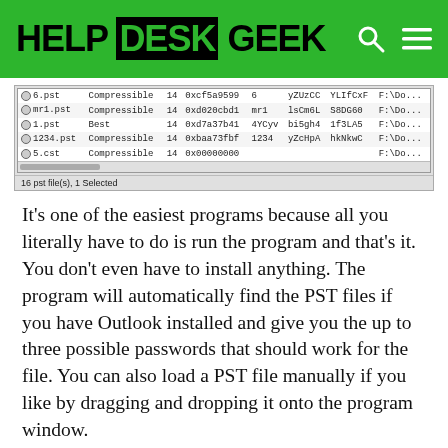HELP DESK GEEK
[Figure (screenshot): A file listing window showing PST files with columns including filename, type (Compressible/Best), number 14, hex values, and file paths. Rows include 6.pst, mr1.pst, 1.pst, 1234.pst, 5.pst. Status bar reads: 16 pst file(s), 1 Selected]
It’s one of the easiest programs because all you literally have to do is run the program and that’s it. You don’t even have to install anything. The program will automatically find the PST files if you have Outlook installed and give you the up to three possible passwords that should work for the file. You can also load a PST file manually if you like by dragging and dropping it onto the program window.
ADVERTISEMENT
Kernel PST Password Recovery Tool – This program is